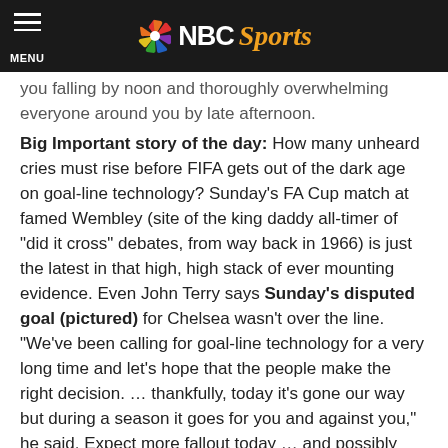NBC Sports
you falling by noon and thoroughly overwhelming everyone around you by late afternoon.
Big Important story of the day: How many unheard cries must rise before FIFA gets out of the dark age on goal-line technology? Sunday's FA Cup match at famed Wembley (site of the king daddy all-timer of "did it cross" debates, from way back in 1966) is just the latest in that high, high stack of ever mounting evidence. Even John Terry says Sunday's disputed goal (pictured) for Chelsea wasn't over the line. "We've been calling for goal-line technology for a very long time and let's hope that the people make the right decision. … thankfully, today it's gone our way but during a season it goes for you and against you," he said. Expect more fallout today … and possibly through the week.
Ahead on the blog today*: The popular Monday "Meh"